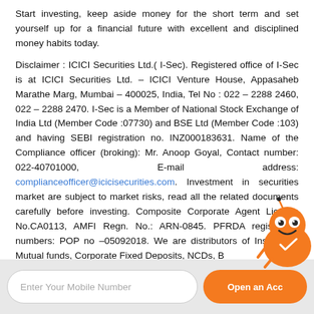Start investing, keep aside money for the short term and set yourself up for a financial future with excellent and disciplined money habits today.
Disclaimer : ICICI Securities Ltd.( I-Sec). Registered office of I-Sec is at ICICI Securities Ltd. - ICICI Venture House, Appasaheb Marathe Marg, Mumbai - 400025, India, Tel No : 022 - 2288 2460, 022 - 2288 2470. I-Sec is a Member of National Stock Exchange of India Ltd (Member Code :07730) and BSE Ltd (Member Code :103) and having SEBI registration no. INZ000183631. Name of the Compliance officer (broking): Mr. Anoop Goyal, Contact number: 022-40701000, E-mail address: complianceofficer@icicisecurities.com. Investment in securities market are subject to market risks, read all the related documents carefully before investing. Composite Corporate Agent License No.CA0113, AMFI Regn. No.: ARN-0845. PFRDA registration numbers: POP no -05092018. We are distributors of Insurance, Mutual funds, Corporate Fixed Deposits, NCDs, B...
[Figure (illustration): Orange cartoon mascot character (ant/bug) with smiling face, visible in lower right area overlapping the disclaimer text and footer]
Enter Your Mobile Number
Open an Acc...